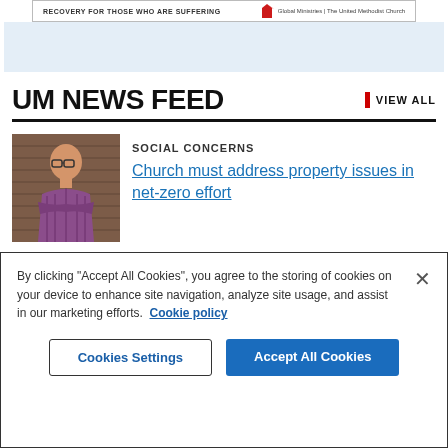[Figure (screenshot): Top banner strip with text 'RECOVERY FOR THOSE WHO ARE SUFFERING' and 'Global Ministries | The United Methodist Church' logo on right]
UM NEWS FEED
VIEW ALL
[Figure (photo): Portrait photo of a man with glasses wearing a purple/plaid shirt, standing in front of a brick wall with arms crossed]
SOCIAL CONCERNS
Church must address property issues in net-zero effort
By clicking “Accept All Cookies”, you agree to the storing of cookies on your device to enhance site navigation, analyze site usage, and assist in our marketing efforts.  Cookie policy
Cookies Settings
Accept All Cookies